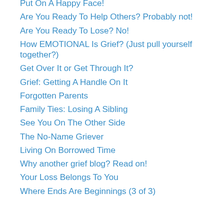Put On A Happy Face!
Are You Ready To Help Others? Probably not!
Are You Ready To Lose? No!
How EMOTIONAL Is Grief? (Just pull yourself together?)
Get Over It or Get Through It?
Grief: Getting A Handle On It
Forgotten Parents
Family Ties: Losing A Sibling
See You On The Other Side
The No-Name Griever
Living On Borrowed Time
Why another grief blog? Read on!
Your Loss Belongs To You
Where Ends Are Beginnings (3 of 3)